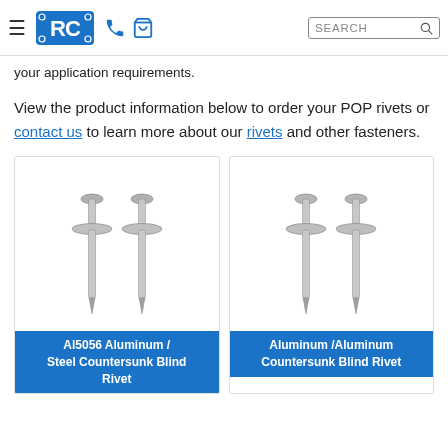RC [logo] | phone | cart | SEARCH
your application requirements.
View the product information below to order your POP rivets or contact us to learn more about our rivets and other fasteners.
[Figure (photo): Two Al5056 aluminum/steel countersunk blind rivets shown side by side]
Al5056 Aluminum / Steel Countersunk Blind Rivet
[Figure (photo): Two Aluminum/Aluminum countersunk blind rivets shown side by side]
Aluminum /Aluminum Countersunk Blind Rivet